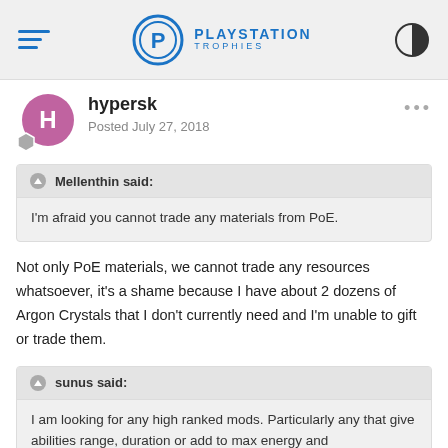PLAYSTATION TROPHIES
hypersk
Posted July 27, 2018
Mellenthin said:
I'm afraid you cannot trade any materials from PoE.
Not only PoE materials, we cannot trade any resources whatsoever, it's a shame because I have about 2 dozens of Argon Crystals that I don't currently need and I'm unable to gift or trade them.
sunus said:
I am looking for any high ranked mods. Particularly any that give abilities range, duration or add to max energy and